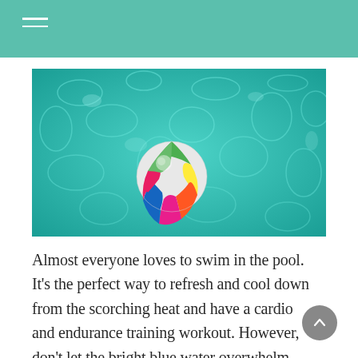[Figure (photo): A colorful beach ball floating in a bright turquoise swimming pool with light refracting on the bottom of the pool.]
Almost everyone loves to swim in the pool. It's the perfect way to refresh and cool down from the scorching heat and have a cardio and endurance training workout. However, don't let the bright blue water overwhelm